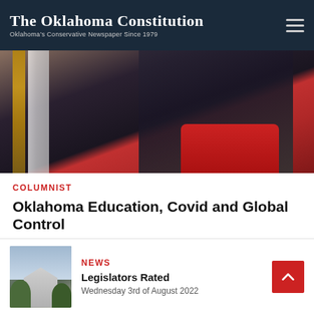The Oklahoma Constitution — Oklahoma's Conservative Newspaper Since 1979
[Figure (photo): Close-up photo of a woman wearing a dark pinstripe blazer over a red top, with an American flag visible in the background.]
COLUMNIST
Oklahoma Education, Covid and Global Control
[Figure (photo): Thumbnail photo of the Oklahoma State Capitol building surrounded by trees.]
NEWS
Legislators Rated
Wednesday 3rd of August 2022